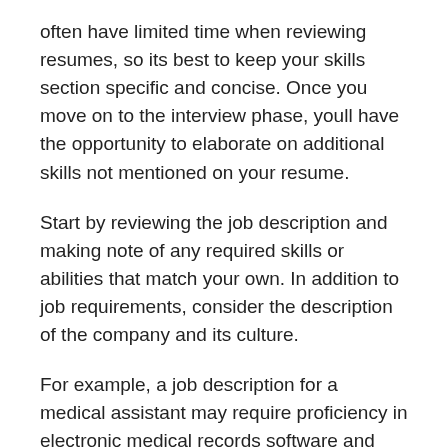often have limited time when reviewing resumes, so its best to keep your skills section specific and concise. Once you move on to the interview phase, youll have the opportunity to elaborate on additional skills not mentioned on your resume.
Start by reviewing the job description and making note of any required skills or abilities that match your own. In addition to job requirements, consider the description of the company and its culture.
For example, a job description for a medical assistant may require proficiency in electronic medical records software and scheduling programs. It may also share that the company values teamwork and patient satisfaction. In this case, the best skills to put on a resume might include the following: